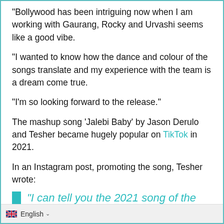"Bollywood has been intriguing now when I am working with Gaurang, Rocky and Urvashi seems like a good vibe.
"I wanted to know how the dance and colour of the songs translate and my experience with the team is a dream come true.
"I'm so looking forward to the release."
The mashup song ‘Jalebi Baby’ by Jason Derulo and Tesher became hugely popular on TikTok in 2021.
In an Instagram post, promoting the song, Tesher wrote:
“I can tell you the 2021 song of the summer is literally about an Indian sweet.”
English